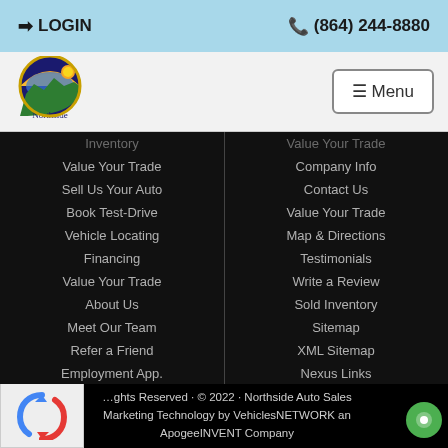LOGIN | (864) 244-8880
[Figure (logo): Northside Auto Sales circular logo with sunset/mountains motif and cursive Northside text]
Inventory
Value Your Trade
Company Info
Sell Us Your Auto
Contact Us
Book Test-Drive
Value Your Trade
Vehicle Locating
Map & Directions
Financing
Testimonials
Value Your Trade
Write a Review
About Us
Sold Inventory
Meet Our Team
Sitemap
Refer a Friend
XML Sitemap
Employment App.
Nexus Links
All Rights Reserved · © 2022 · Northside Auto Sales
Marketing Technology by VehiclesNETWORK an ApogeeINVENT Company